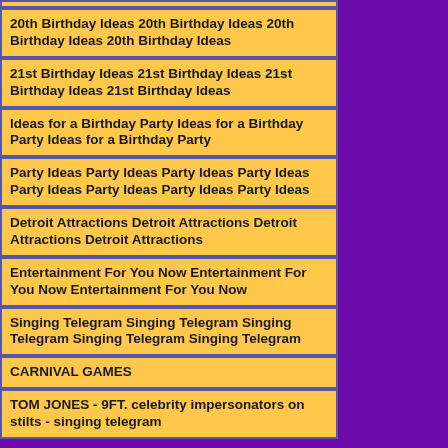20th Birthday Ideas 20th Birthday Ideas 20th Birthday Ideas 20th Birthday Ideas
21st Birthday Ideas 21st Birthday Ideas 21st Birthday Ideas 21st Birthday Ideas
Ideas for a Birthday Party Ideas for a Birthday Party Ideas for a Birthday Party
Party Ideas Party Ideas Party Ideas Party Ideas Party Ideas Party Ideas Party Ideas Party Ideas
Detroit Attractions Detroit Attractions Detroit Attractions Detroit Attractions
Entertainment For You Now Entertainment For You Now Entertainment For You Now
Singing Telegram Singing Telegram Singing Telegram Singing Telegram Singing Telegram
CARNIVAL GAMES
TOM JONES - 9FT. celebrity impersonators on stilts - singing telegram